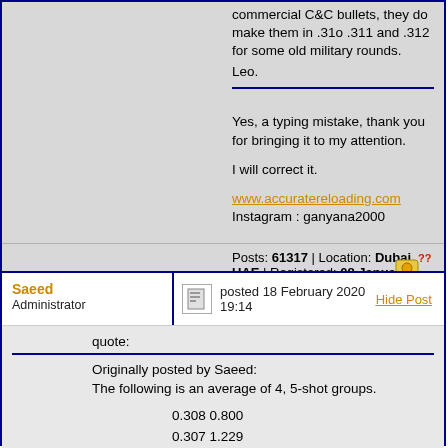commercial C&C bullets, they do make them in .31o .311 and .312 for some old military rounds.
Leo.
Yes, a typing mistake, thank you for bringing it to my attention.

I will correct it.

www.accuratereloading.com
Instagram : ganyana2000
Posts: 61317 | Location: Dubai, UAE | Registered: 08 January 1998
Saeed
Administrator
posted 18 February 2020 19:14
Hide Post
quote:
Originally posted by Saeed:
The following is an average of 4, 5-shot groups.

0.308 0.800
0.307 1.229
0.306 0.823
0.305 0.854
0.304 1.546